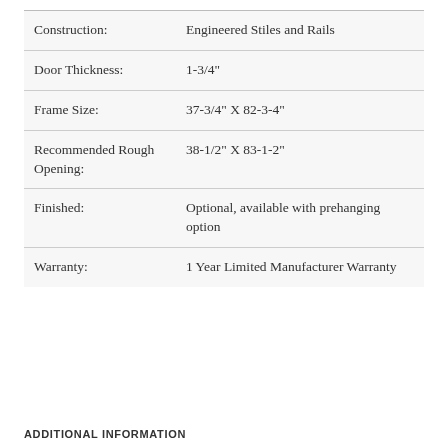| Attribute | Value |
| --- | --- |
| Construction: | Engineered Stiles and Rails |
| Door Thickness: | 1-3/4" |
| Frame Size: | 37-3/4" X 82-3-4" |
| Recommended Rough Opening: | 38-1/2" X 83-1-2" |
| Finished: | Optional, available with prehanging option |
| Warranty: | 1 Year Limited Manufacturer Warranty |
ADDITIONAL INFORMATION